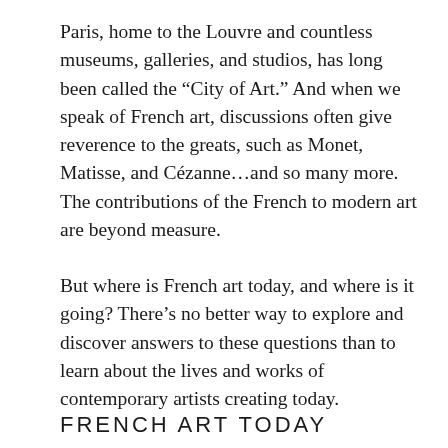Paris, home to the Louvre and countless museums, galleries, and studios, has long been called the “City of Art.” And when we speak of French art, discussions often give reverence to the greats, such as Monet, Matisse, and Cézanne…and so many more. The contributions of the French to modern art are beyond measure.
But where is French art today, and where is it going? There’s no better way to explore and discover answers to these questions than to learn about the lives and works of contemporary artists creating today.
FRENCH ART TODAY